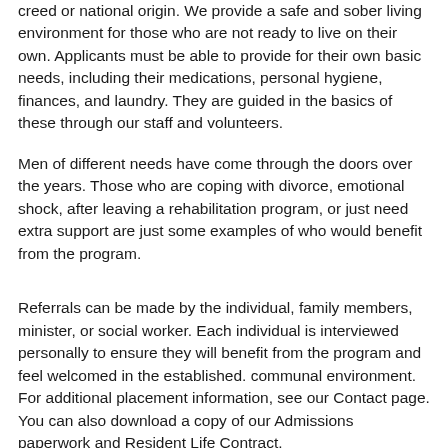creed or national origin. We provide a safe and sober living environment for those who are not ready to live on their own. Applicants must be able to provide for their own basic needs, including their medications, personal hygiene, finances, and laundry. They are guided in the basics of these through our staff and volunteers.
Men of different needs have come through the doors over the years. Those who are coping with divorce, emotional shock, after leaving a rehabilitation program, or just need extra support are just some examples of who would benefit from the program.
Referrals can be made by the individual, family members, minister, or social worker. Each individual is interviewed personally to ensure they will benefit from the program and feel welcomed in the established. communal environment. For additional placement information, see our Contact page. You can also download a copy of our Admissions paperwork and Resident Life Contract.